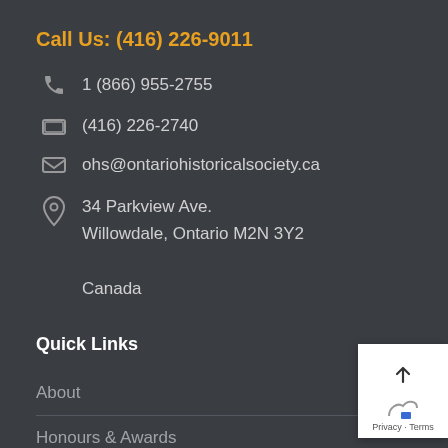Call Us: (416) 226-9011
1 (866) 955-2755
(416) 226-2740
ohs@ontariohistoricalsociety.ca
34 Parkview Ave.
Willowdale, Ontario M2N 3Y2
Canada
Quick Links
About
Honours & Awards
Ontario History Journal